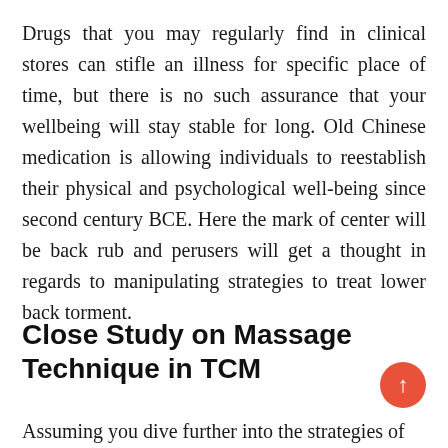Drugs that you may regularly find in clinical stores can stifle an illness for specific place of time, but there is no such assurance that your wellbeing will stay stable for long. Old Chinese medication is allowing individuals to reestablish their physical and psychological well-being since second century BCE. Here the mark of center will be back rub and perusers will get a thought in regards to manipulating strategies to treat lower back torment.
Close Study on Massage Technique in TCM
Assuming you dive further into the strategies of